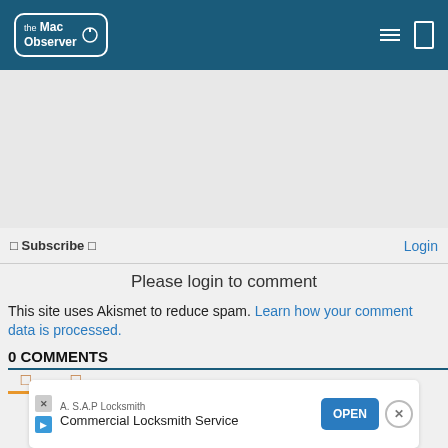[Figure (logo): The Mac Observer logo in white text inside a rounded rectangle border, on dark teal header background]
Subscribe  Login
Please login to comment
This site uses Akismet to reduce spam. Learn how your comment data is processed.
0 COMMENTS
[Figure (other): Sort icons with orange and red underlines]
[Figure (other): Ad banner: A.S.A.P Locksmith - Commercial Locksmith Service with OPEN button]